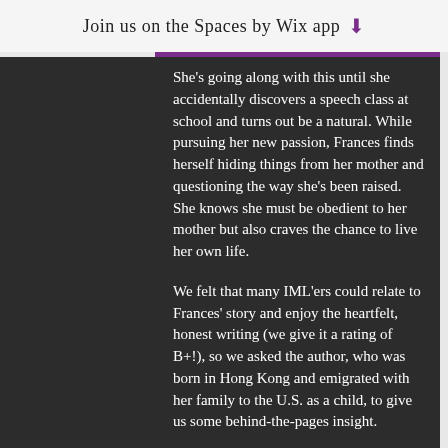Join us on the Spaces by Wix app
She's going along with this until she accidentally discovers a speech class at school and turns out be a natural. While pursuing her new passion, Frances finds herself hiding things from her mother and questioning the way she's been raised. She knows she must be obedient to her mother but also craves the chance to live her own life.
We felt that many IML'ers could relate to Frances' story and enjoy the heartfelt, honest writing (we give it a rating of B+!), so we asked the author, who was born in Hong Kong and emigrated with her family to the U.S. as a child, to give us some behind-the-pages insight.